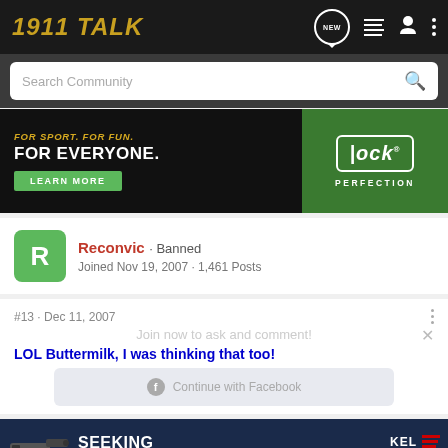1911 TALK
Search Community
[Figure (photo): Glock advertisement banner: FOR SPORT. FOR FUN. FOR EVERYONE. LEARN MORE. Glock Perfection logo.]
Reconvic · Banned
Joined Nov 19, 2007 · 1,461 Posts
#13 · Dec 11, 2007
Join now to ask and comment!
LOL Buttermilk, I was thinking that too!
Continue with Facebook
[Figure (photo): Kel-Tec advertisement: SEEKING LONG RANGE RELATIONSHIP. THE CP33 PISTOL. Shows a handgun.]